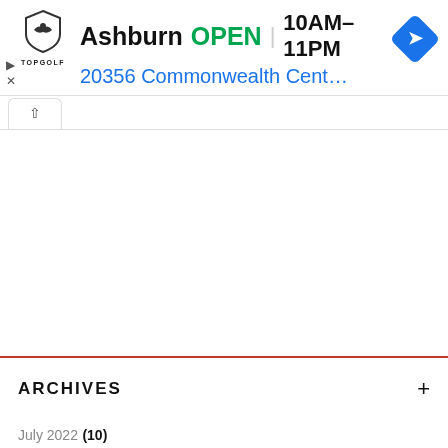[Figure (screenshot): Topgolf advertisement banner showing Ashburn location, OPEN status, hours 10AM-11PM, address 20356 Commonwealth Center..., with navigation arrow icon and Topgolf shield logo]
^ (collapse tab)
ARCHIVES +
July 2022 (10)